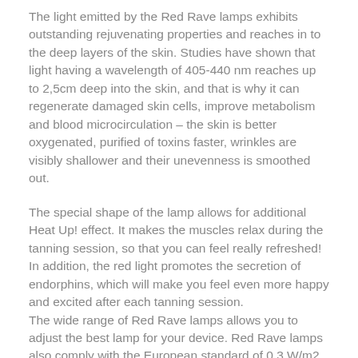The light emitted by the Red Rave lamps exhibits outstanding rejuvenating properties and reaches in to the deep layers of the skin. Studies have shown that light having a wavelength of 405-440 nm reaches up to 2,5cm deep into the skin, and that is why it can regenerate damaged skin cells, improve metabolism and blood microcirculation – the skin is better oxygenated, purified of toxins faster, wrinkles are visibly shallower and their unevenness is smoothed out.
The special shape of the lamp allows for additional Heat Up! effect. It makes the muscles relax during the tanning session, so that you can feel really refreshed! In addition, the red light promotes the secretion of endorphins, which will make you feel even more happy and excited after each tanning session.
The wide range of Red Rave lamps allows you to adjust the best lamp for your device. Red Rave lamps also comply with the European standard of 0.3 W/m2.